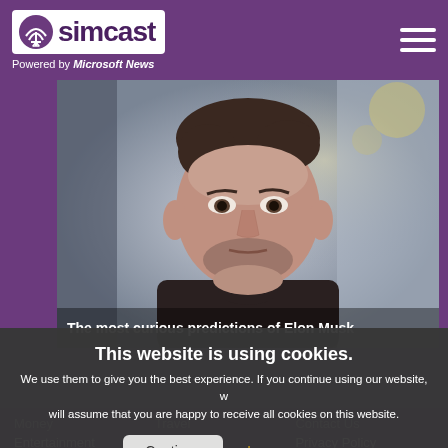simcast — Powered by Microsoft News
[Figure (photo): Close-up photo of Elon Musk with caption 'The most curious predictions of Elon Musk']
The most curious predictions of Elon Musk
This website is using cookies. We use them to give you the best experience. If you continue using our website, we will assume that you are happy to receive all cookies on this website.
Continue | Learn more
Money
Entertainment
Lifestyle
Travel
Videos
Sports
Contact Us
Privacy Policy
Terms of Use